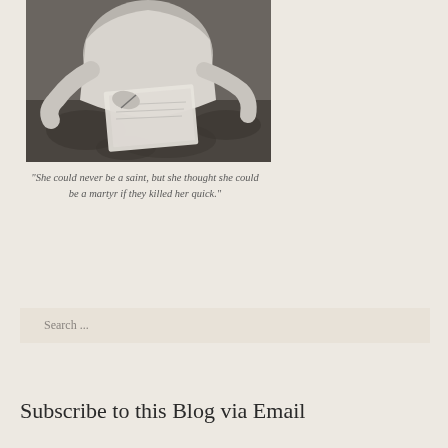[Figure (photo): Black and white photograph showing a person writing or reading, seated with papers or a book, wearing light clothing, with a patterned fabric visible in the lower portion of the image.]
"She could never be a saint, but she thought she could be a martyr if they killed her quick."
Search ...
Subscribe to this Blog via Email